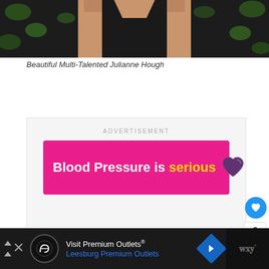[Figure (photo): Photo of Julianne Hough, showing torso in black top with green leafy background]
Beautiful Multi-Talented Julianne Hough
[Figure (infographic): Advertisement banner: 'Blood Pressure is serious' with yellow 'serious' text and purple heart icon, pink/magenta background. Labeled ADVERTISEMENT.]
[Figure (infographic): Bottom ad bar: Visit Premium Outlets® Leesburg Premium Outlets, with logo and navigation arrow. Right side shows dark block with W° logo.]